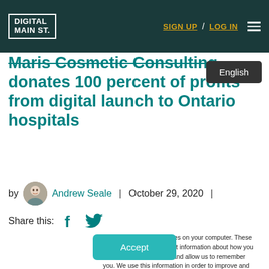DIGITAL MAIN ST. | SIGN UP / LOG IN
Maris Cosmetic Consulting donates 100 percent of profits from digital launch to Ontario hospitals
by Andrew Seale | October 29, 2020 |
Share this:
This website stores cookies on your computer. These cookies are used to collect information about how you interact with our website and allow us to remember you. We use this information in order to improve and customize your browsing experience and for analytics and metrics about our visitors both on this website and other media. To find out more about the cookies we use, see our Privacy Policy
Accept